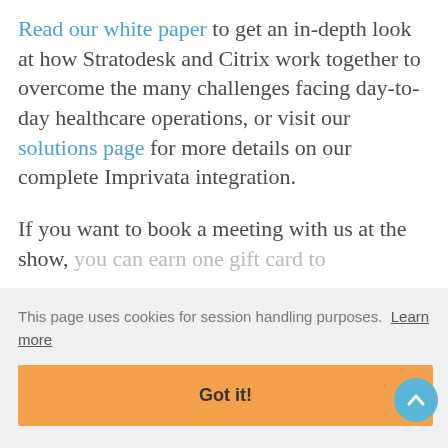Read our white paper to get an in-depth look at how Stratodesk and Citrix work together to overcome the many challenges facing day-to-day healthcare operations, or visit our solutions page for more details on our complete Imprivata integration.
If you want to book a meeting with us at the show, you can earn one gift card to Starbucks. Register today to ensure you do not miss this opportunity. Simply submit the form on the page, or book a meeting directly by clicking the link below.
This page uses cookies for session handling purposes. Learn more